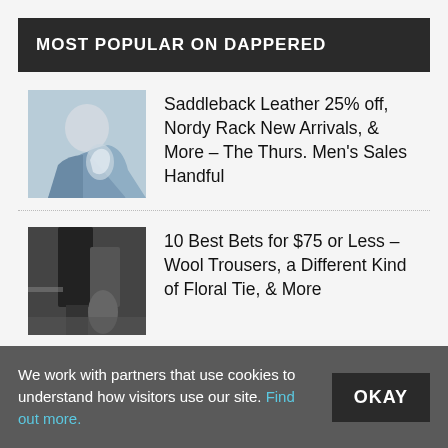MOST POPULAR ON DAPPERED
Saddleback Leather 25% off, Nordy Rack New Arrivals, & More – The Thurs. Men's Sales Handful
10 Best Bets for $75 or Less – Wool Trousers, a Different Kind of Floral Tie, & More
Monday Men's Sales Tripod – Old Navy Ultimate Chinos Sale, Grant Stone Coffee Suede, & More
We work with partners that use cookies to understand how visitors use our site. Find out more.